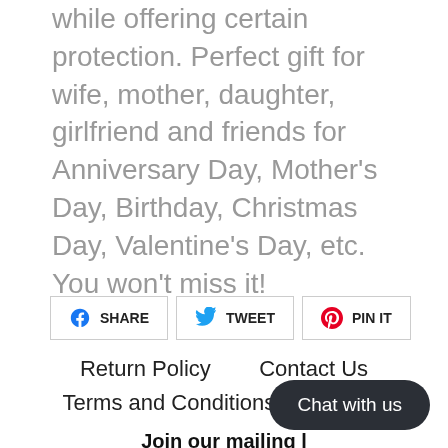while offering certain protection. Perfect gift for wife, mother, daughter, girlfriend and friends for Anniversary Day, Mother's Day, Birthday, Christmas Day, Valentine's Day, etc. You won't miss it!
[Figure (infographic): Social share buttons: Facebook SHARE, Twitter TWEET, Pinterest PIN IT]
Return Policy   Contact Us   Terms and Conditions   Search   Join our mailing list   Sign up to get coupons for free items
Chat with us